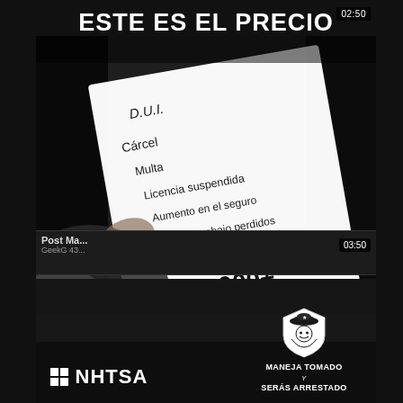ESTE ES EL PRECIO
[Figure (photo): Screenshot of a video showing a hand holding a paper listing DUI charges/consequences in Spanish: D.U.I., Cárcel, Multa, Licencia suspendida, Aumento en el seguro, Días de trabajo perdidos, Cargos totales por D.U.I., $10,000+. NHTSA logo and 'Maneja Tomado y Serás Arrestado' badge visible at bottom.]
Post Ma...
GeekG 43...
NHTSA — MANEJA TOMADO Y SERÁS ARRESTADO